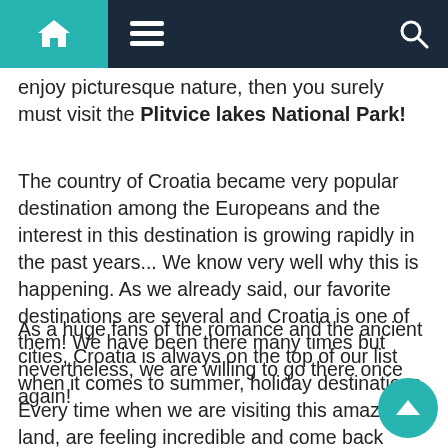Navigation bar with home, menu, and search icons
enjoy picturesque nature, then you surely must visit the Plitvice lakes National Park!
The country of Croatia became very popular destination among the Europeans and the interest in this destination is growing rapidly in the past years... We know very well why this is happening. As we already said, our favorite destinations are several and Croatia is one of them! We have been there many times but nevertheless, we are willing to go there once again!
As a huge fans of the romance and the ancient cities, Croatia is always on the top of our list when it comes to summer, holiday destinations. Every time when we are visiting this amazing land, are feeling incredible and come back home with lots of positive energy and unforgettable memories... And if you want to experience something